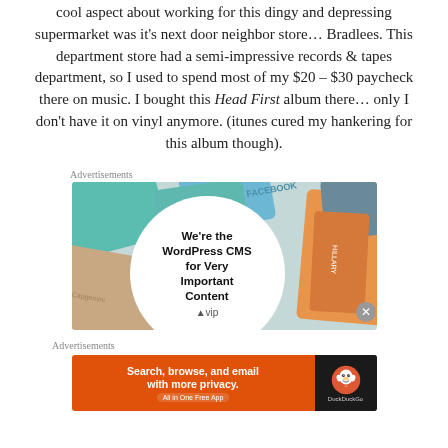cool aspect about working for this dingy and depressing supermarket was it's next door neighbor store… Bradlees. This department store had a semi-impressive records & tapes department, so I used to spend most of my $20 – $30 paycheck there on music. I bought this Head First album there… only I don't have it on vinyl anymore. (itunes cured my hankering for this album though).
Advertisements
[Figure (screenshot): WordPress VIP advertisement showing colorful social media brand tiles with a white circle overlay reading 'We're the WordPress CMS for Very Important Content' with WP VIP logo]
Advertisements
[Figure (screenshot): DuckDuckGo advertisement with orange background reading 'Search, browse, and email with more privacy. All in One Free App' with DuckDuckGo duck logo on dark background]